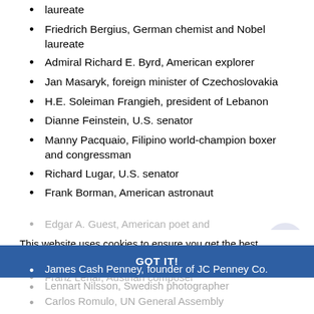laureate
Friedrich Bergius, German chemist and Nobel laureate
Admiral Richard E. Byrd, American explorer
Jan Masaryk, foreign minister of Czechoslovakia
H.E. Soleiman Frangieh, president of Lebanon
Dianne Feinstein, U.S. senator
Manny Pacquaio, Filipino world-champion boxer and congressman
Richard Lugar, U.S. senator
Frank Borman, American astronaut
Edgar A. Guest, American poet and
This website uses cookies to ensure you get the best experience on our website. Learn more
Sir Harry Lauder, Scottish entertainer
Franz Lehar, Austrian composer
Lennart Nilsson, Swedish photographer
James Cash Penney, founder of JC Penney Co.
Carlos Romulo, UN General Assembly